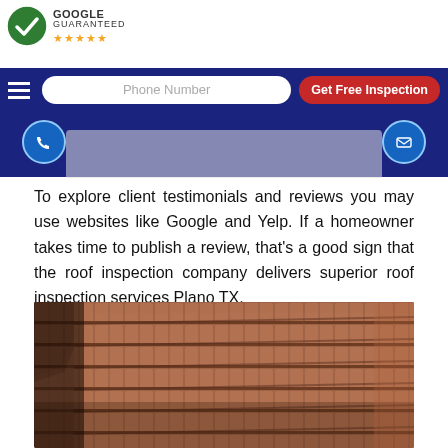[Figure (logo): Google Guaranteed badge with green checkmark circle and five gold stars]
Phone Number | Get Free Inspection
[Figure (infographic): Blue navigation bar with hamburger menu, phone number input, and Get Free Inspection red CTA button, plus phone and email icons below]
To explore client testimonials and reviews you may use websites like Google and Yelp. If a homeowner takes time to publish a review, that's a good sign that the roof inspection company delivers superior roof inspection services Plano TX.
[Figure (photo): Close-up photo of terra cotta clay roof tiles showing rows of overlapping tiles]